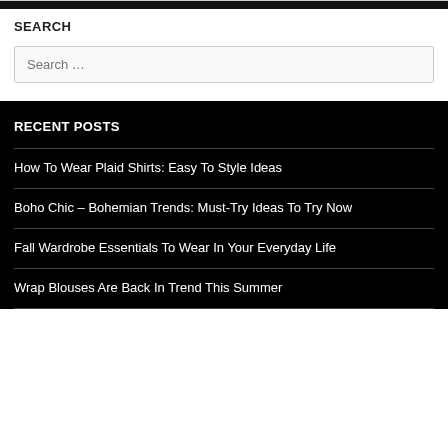SEARCH
Search …
RECENT POSTS
How To Wear Plaid Shirts: Easy To Style Ideas
Boho Chic – Bohemian Trends: Must-Try Ideas To Try Now
Fall Wardrobe Essentials To Wear In Your Everyday Life
Wrap Blouses Are Back In Trend This Summer